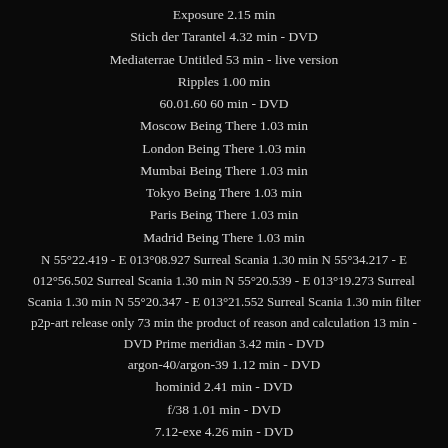Exposure 2.15 min
Stich der Tarantel 4.32 min - DVD
Mediaterrae Untitled 53 min - live version
Ripples 1.00 min
60.01.60 60 min - DVD
Moscow Being There 1.03 min
London Being There 1.03 min
Mumbai Being There 1.03 min
Tokyo Being There 1.03 min
Paris Being There 1.03 min
Madrid Being There 1.03 min
N 55°22.419 - E 013°08.927 Surreal Scania 1.30 min N 55°34.217 - E 012°56.502 Surreal Scania 1.30 min N 55°20.539 - E 013°19.273 Surreal Scania 1.30 min N 55°20.347 - E 013°21.552 Surreal Scania 1.30 min filter p2p-art release only 73 min the product of reason and calculation 13 min - DVD Prime meridian 3.42 min - DVD
argon-40/argon-39 1.12 min - DVD
hominid 2.41 min - DVD
f/38 1.01 min - DVD
7.12-exe 4.26 min - DVD
relative date 0.54 min
For Sore Eyes 2.17 min - DVD